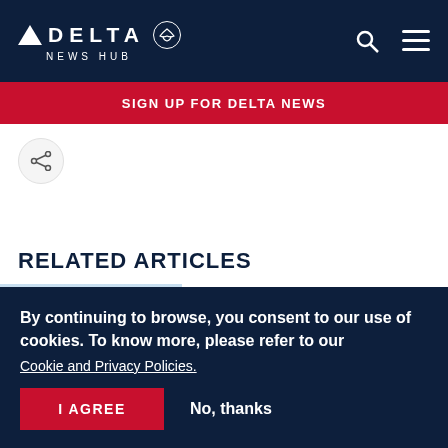DELTA NEWS HUB
SIGN UP FOR DELTA NEWS
[Figure (other): Share icon button (circle with share/network icon)]
RELATED ARTICLES
[Figure (photo): Partial photo of aircraft against blue sky, bottom portion visible]
ARTICLE | FINANCIAL
Delta Air Lines announces webcast of
By continuing to browse, you consent to our use of cookies. To know more, please refer to our Cookie and Privacy Policies.
I AGREE   No, thanks